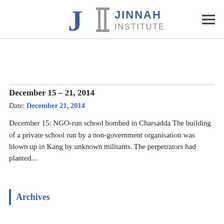Jinnah Institute
December 15 – 21, 2014
Date: December 21, 2014
December 15: NGO-run school bombed in Charsadda The building of a private school run by a non-government organisation was blown up in Kang by unknown militants. The perpetrators had planted...
Archives